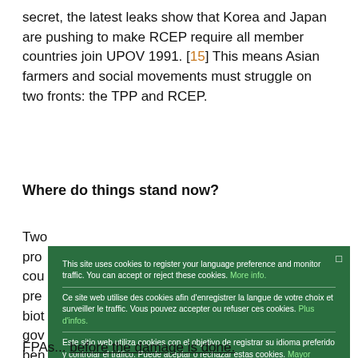secret, the latest leaks show that Korea and Japan are pushing to make RCEP require all member countries join UPOV 1991. [15] This means Asian farmers and social movements must struggle on two fronts: the TPP and RCEP.
Where do things stand now?
Two... prov... cou... pres... biot... gov... ben... bas... che... vari... age... num...
This site uses cookies to register your language preference and monitor traffic. You can accept or reject these cookies. More info.

Ce site web utilise des cookies afin d'enregistrer la langue de votre choix et surveiller le traffic. Vous pouvez accepter ou refuser ces cookies. Plus d'infos.

Este sitio web utiliza cookies con el objetivo de registrar su idioma preferido y controlar el tráfico. Puede aceptar o rechazar estas cookies. Mayor información.

Ok
FPAs... before the damage is done.